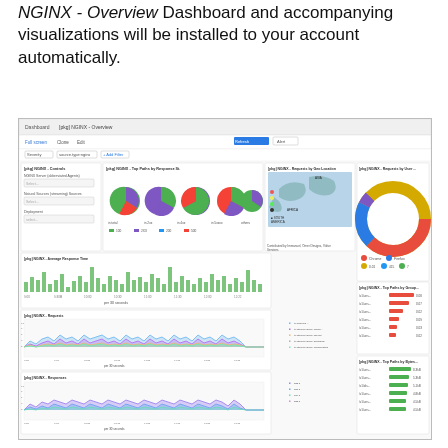NGINX - Overview Dashboard and accompanying visualizations will be installed to your account automatically.
[Figure (screenshot): Screenshot of the [pkg] NGINX - Overview Dashboard in a web interface, showing multiple panels: pie charts for Top Paths by Response Status, a world map for Requests by Geo Location, a donut chart for Requests by User, bar charts for Average Response Time per 30 seconds, Requests per 30 seconds, and Responses per 30 seconds, along with top paths by group and by bytes panels on the right side.]